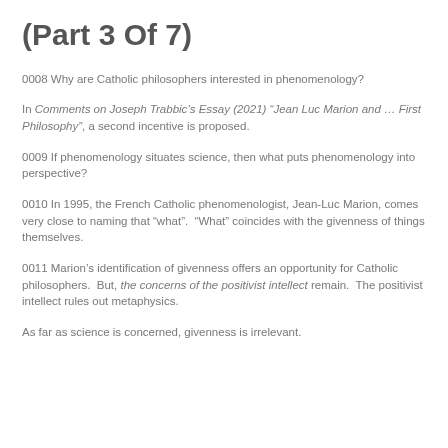(Part 3 Of 7)
0008 Why are Catholic philosophers interested in phenomenology?
In Comments on Joseph Trabbic’s Essay (2021) “Jean Luc Marion and … First Philosophy”, a second incentive is proposed.
0009 If phenomenology situates science, then what puts phenomenology into perspective?
0010 In 1995, the French Catholic phenomenologist, Jean-Luc Marion, comes very close to naming that “what”.  “What” coincides with the givenness of things themselves.
0011 Marion’s identification of givenness offers an opportunity for Catholic philosophers.  But, the concerns of the positivist intellect remain.  The positivist intellect rules out metaphysics.
As far as science is concerned, givenness is irrelevant.